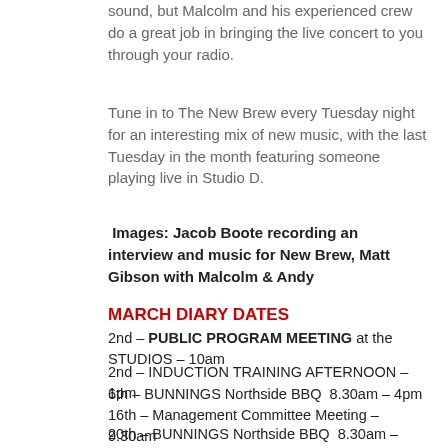sound, but Malcolm and his experienced crew do a great job in bringing the live concert to you through your radio.
Tune in to The New Brew every Tuesday night for an interesting mix of new music, with the last Tuesday in the month featuring someone playing live in Studio D.
Images: Jacob Boote recording an interview and music for New Brew, Matt Gibson with Malcolm & Andy
MARCH DIARY DATES
2nd – PUBLIC PROGRAM MEETING at the STUDIOS – 10am
2nd – INDUCTION TRAINING AFTERNOON – 1pm
6th – BUNNINGS Northside BBQ  8.30am – 4pm
16th – Management Committee Meeting – 9.30am
20th – BUNNINGS Northside BBQ  8.30am – 4pm
21st – HARMONY DAY SPECIAL OUTSIDE BROADCAST CIVIC SQUARE  3 – 7pm